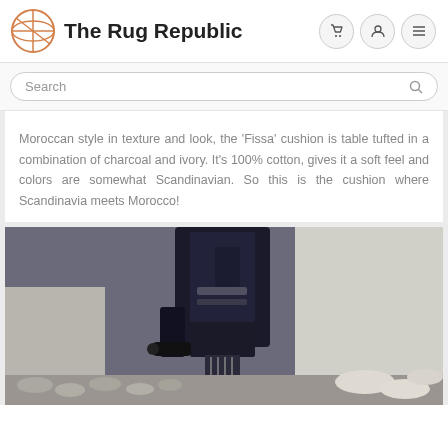The Rug Republic
Search
Moroccan style in texture and look, the 'Fissa' cushion is table tufted in a combination of charcoal and ivory. It's 100% cotton, gives it a soft feel and colors are somewhat Scandinavian. So this is the cushion where Scandinavia meets Morocco!
[Figure (photo): Close-up photo of a tufting machine working on a rug or cushion, with fluffy grey tufted surface visible and a person in white clothing in the background]